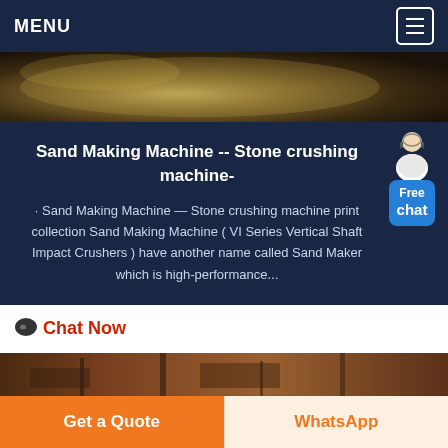MENU
[Figure (photo): Close-up photo of sand or crushed stone material, dark brownish yellow tones]
Sand Making Machine -- Stone crushing machine-
· Sand Making Machine — Stone crushing machine print collection Sand Making Machine ( VI Series Vertical Shaft Impact Crushers ) have another name called Sand Maker which is high-performance...
Chat Now
[Figure (photo): Partial view of industrial machinery or equipment interior]
Get a Quote
WhatsApp